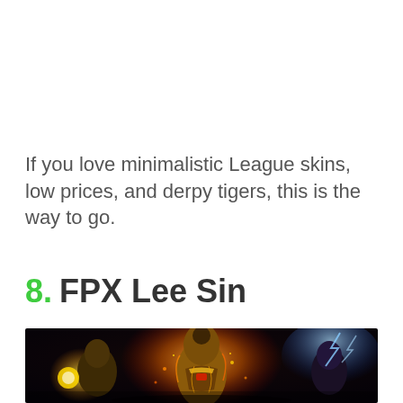If you love minimalistic League skins, low prices, and derpy tigers, this is the way to go.
8. FPX Lee Sin
[Figure (illustration): FPX Lee Sin League of Legends skin splash art showing armored champions with fire and lightning effects on a dark cosmic background]